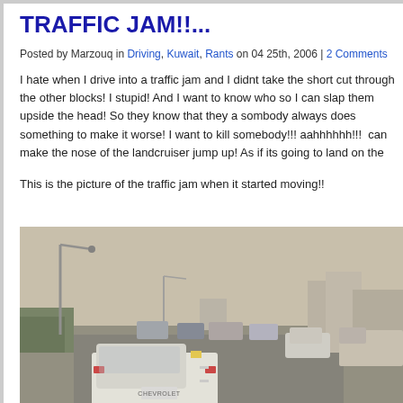TRAFFIC JAM!!...
Posted by Marzouq in Driving, Kuwait, Rants on 04 25th, 2006 | 2 Comments
I hate when I drive into a traffic jam and I didnt take the short cut through the other blocks! I stupid! And I want to know who so I can slap them upside the head! So they know that they a sombody always does something to make it worse! I want to kill somebody!!! aahhhhhh!!! can make the nose of the landcruiser jump up! As if its going to land on the back of your c when Im driving in shitty situations! lol! But it was following after a little while!
This is the picture of the traffic jam when it started moving!!
[Figure (photo): Photo of a traffic jam on a road in Kuwait showing cars including a Chevrolet pickup truck, street lights, hazy sky, and buildings in the background]